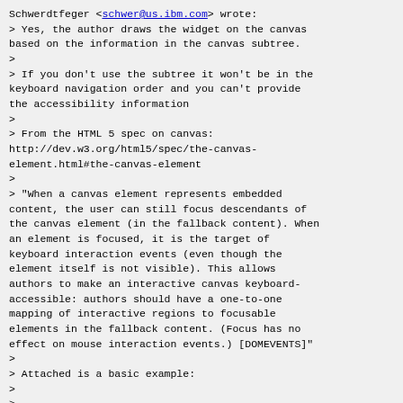Schwerdtfeger <schwer@us.ibm.com> wrote:
> Yes, the author draws the widget on the canvas
based on the information in the canvas subtree.
>
> If you don't use the subtree it won't be in the
keyboard navigation order and you can't provide
the accessibility information
>
> From the HTML 5 spec on canvas:
http://dev.w3.org/html5/spec/the-canvas-element.html#the-canvas-element
>
> "When a canvas element represents embedded
content, the user can still focus descendants of
the canvas element (in the fallback content). When
an element is focused, it is the target of
keyboard interaction events (even though the
element itself is not visible). This allows
authors to make an interactive canvas keyboard-
accessible: authors should have a one-to-one
mapping of interactive regions to focusable
elements in the fallback content. (Focus has no
effect on mouse interaction events.) [DOMEVENTS]"
>
> Attached is a basic example:
>
>
> (See attached file: CanvasEditor.html)
>